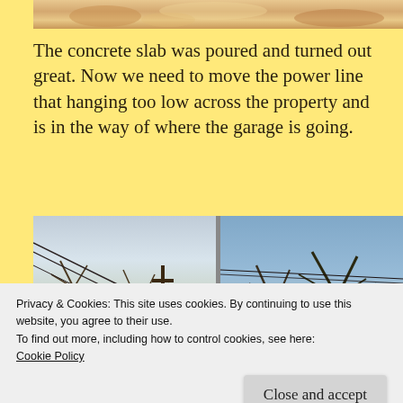[Figure (photo): Top partial photo of food or dessert, cropped at top of page]
The concrete slab was poured and turned out great. Now we need to move the power line that hanging too low across the property and is in the way of where the garage is going.
[Figure (photo): Two side-by-side outdoor photos showing power lines hanging across trees and sky, winter bare trees visible]
Privacy & Cookies: This site uses cookies. By continuing to use this website, you agree to their use.
To find out more, including how to control cookies, see here:
Cookie Policy
Close and accept
[Figure (photo): Bottom partial photos showing ground/outdoor scenes, cropped at bottom of page]